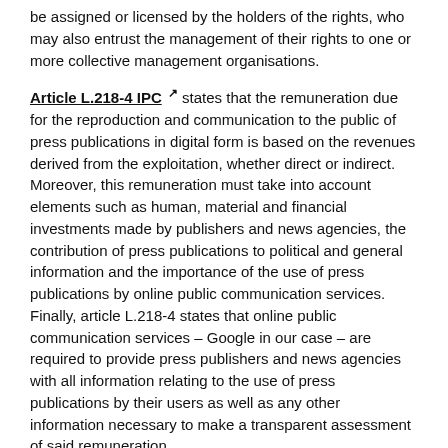be assigned or licensed by the holders of the rights, who may also entrust the management of their rights to one or more collective management organisations.
Article L.218-4 IPC [external link] states that the remuneration due for the reproduction and communication to the public of press publications in digital form is based on the revenues derived from the exploitation, whether direct or indirect. Moreover, this remuneration must take into account elements such as human, material and financial investments made by publishers and news agencies, the contribution of press publications to political and general information and the importance of the use of press publications by online public communication services. Finally, article L.218-4 states that online public communication services – Google in our case – are required to provide press publishers and news agencies with all information relating to the use of press publications by their users as well as any other information necessary to make a transparent assessment of said remuneration.
Article L.218-5 IPC [external link] states that the journalists and other authors of the works featured in the press publications are entitled to an appropriate and fair share of the remuneration mentioned in article L.218-4.